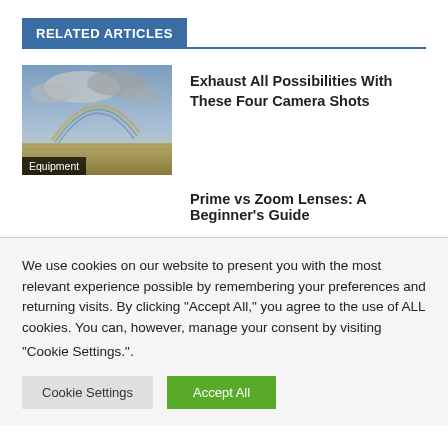RELATED ARTICLES
[Figure (photo): Landscape photo with sky, clouds, and a rainbow over flat terrain with dried grass. Label 'Equipment' overlaid at bottom.]
Exhaust All Possibilities With These Four Camera Shots
Prime vs Zoom Lenses: A Beginner's Guide
We use cookies on our website to present you with the most relevant experience possible by remembering your preferences and returning visits. By clicking "Accept All," you agree to the use of ALL cookies. You can, however, manage your consent by visiting "Cookie Settings."".